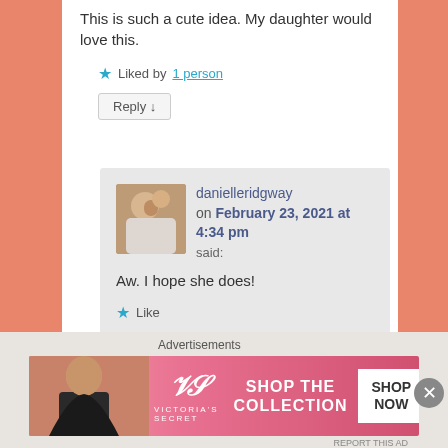This is such a cute idea. My daughter would love this.
★ Liked by 1 person
Reply ↓
[Figure (photo): Avatar photo of person with child]
danielleridgway on February 23, 2021 at 4:34 pm said:
Aw. I hope she does!
★ Like
Reply ↓
Advertisements
[Figure (photo): Victoria's Secret advertisement banner with model, VS logo, SHOP THE COLLECTION text, and SHOP NOW button]